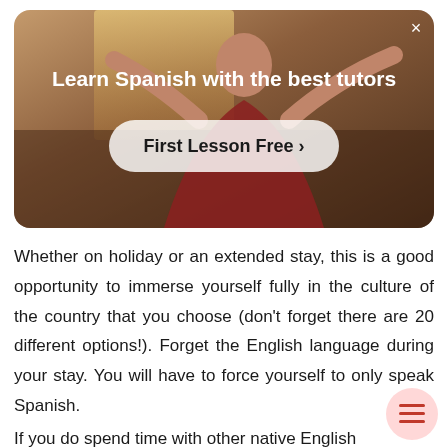[Figure (photo): Promotional banner showing a person with arms raised in a room with warm lighting, overlaid with the text 'Learn Spanish with the best tutors' and a 'First Lesson Free >' button. A close (×) button is at the top right.]
Whether on holiday or an extended stay, this is a good opportunity to immerse yourself fully in the culture of the country that you choose (don't forget there are 20 different options!). Forget the English language during your stay. You will have to force yourself to only speak Spanish.
If you do spend time with other native English